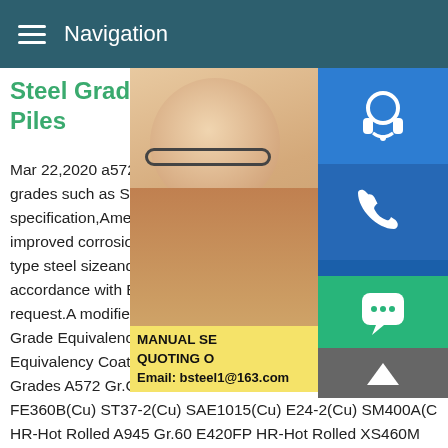Navigation
Steel Grades (HR) - ArcelorM Piles
Mar 22,2020 a572 grade 60 h type steel s grades such as S 460 AP as per internal m specification,American ASTM A572 steel g improved corrosion resistance,such as AM type steel sizeand ASTM A690,or steels w accordance with EN 10248 Part 1,Chapter request.A modified steel grade A690 with a Grade Equivalency TableSteel Grade Equ Equivalency Coating Equivalency Terms Others Stainless Steel Grades A572 Gr.C E355R HR-Hot Rolled 3281 55235 S235JR(Cu) FE360B(Cu) ST37-2(Cu) SAE1015(Cu) E24-2(Cu) SM400A(C HR-Hot Rolled A945 Gr.60 E420FP HR-Hot Rolled XS460M STE460TM E460R HR-Hot Rolled S460ML TSTE460TM E460 HR-Hot Related searches for a572 grade 60 h type steel sizes
[Figure (photo): Customer service representative woman with headset, overlapping with blue icon sidebar (headset, phone, Skype icons) and yellow MANUAL SE / QUOTING O / Email: bsteel1@163.com overlay, green chat bubble, grey scroll-to-top button]